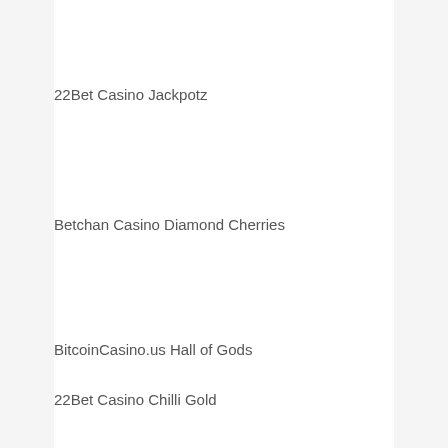22Bet Casino Jackpotz
Betchan Casino Diamond Cherries
BitcoinCasino.us Hall of Gods
22Bet Casino Chilli Gold